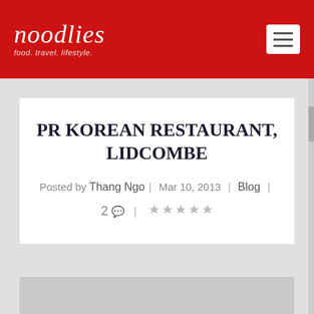noodlies — food. travel. lifestyle.
PR KOREAN RESTAURANT, LIDCOMBE
Posted by Thang Ngo | Mar 10, 2013 | Blog | 2 comments | 1 star rating
[Figure (photo): Gray placeholder image at bottom of page]